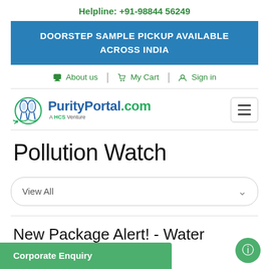Helpline: +91-98844 56249
DOORSTEP SAMPLE PICKUP AVAILABLE ACROSS INDIA
About us | My Cart | Sign in
[Figure (logo): PurityPortal.com logo with flask icons and tagline 'A HCS Venture']
Pollution Watch
View All
New Package Alert! - Water irrigation.
Corporate Enquiry